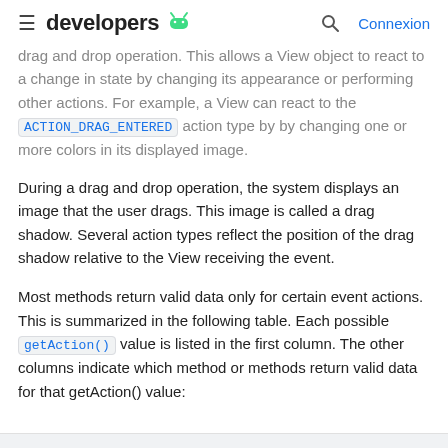≡ developers 🤖  🔍  Connexion
drag and drop operation. This allows a View object to react to a change in state by changing its appearance or performing other actions. For example, a View can react to the ACTION_DRAG_ENTERED action type by by changing one or more colors in its displayed image.
During a drag and drop operation, the system displays an image that the user drags. This image is called a drag shadow. Several action types reflect the position of the drag shadow relative to the View receiving the event.
Most methods return valid data only for certain event actions. This is summarized in the following table. Each possible getAction() value is listed in the first column. The other columns indicate which method or methods return valid data for that getAction() value: